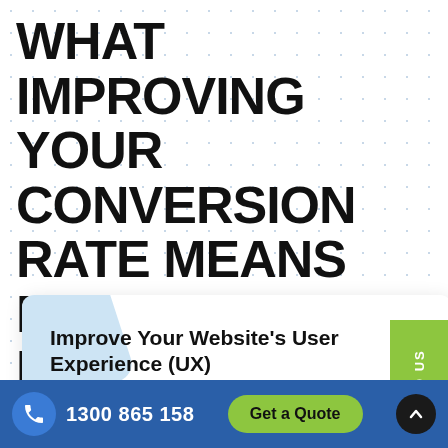WHAT IMPROVING YOUR CONVERSION RATE MEANS FOR YOUR BUSINESS
Improve Your Website's User Experience (UX)
The number one reason why CRO is important is because it helps uncover all the issues with your website that are affecting your conversion rates. Th...
1300 865 158
Get a Quote